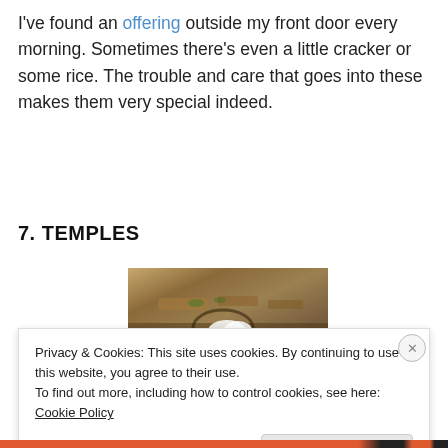I've found an offering outside my front door every morning. Sometimes there's even a little cracker or some rice. The trouble and care that goes into these makes them very special indeed.
7. TEMPLES
[Figure (photo): A sepia-toned photograph of a temple offering or decoration with stone steps, carved elements, and white flowers.]
Privacy & Cookies: This site uses cookies. By continuing to use this website, you agree to their use.
To find out more, including how to control cookies, see here: Cookie Policy